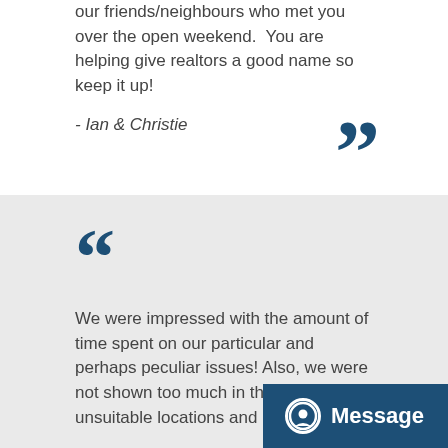our friends/neighbours who met you over the open weekend.  You are helping give realtors a good name so keep it up!
- Ian & Christie
We were impressed with the amount of time spent on our particular and perhaps peculiar issues! Also, we were not shown too much in the way of unsuitable locations and homes.
Much appreciated the House Seller's survival kit (teas, wine, etc) and the way Gavin handled the open hou... bags, tickets to Maplewood...